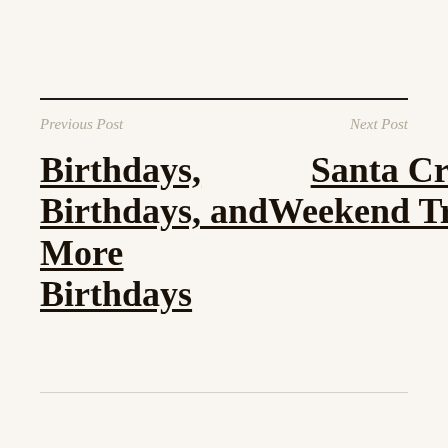Previous Post | Next Post
Birthdays, Birthdays, and More Birthdays
Santa Cruz Weekend Trip